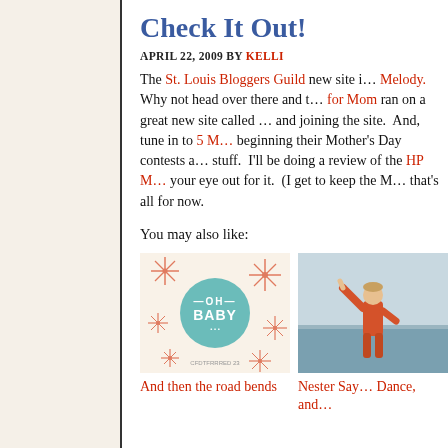Check It Out!
APRIL 22, 2009 BY KELLI
The St. Louis Bloggers Guild new site is designed by Melody. Why not head over there and t... for Mom ran on a great new site called ... and joining the site. And, tune in to 5 M... beginning their Mother's Day contests a... stuff. I'll be doing a review of the HP M... your eye out for it. (I get to keep the M... that's all for now.
You may also like:
[Figure (illustration): OH BABY card/graphic with star burst pattern and teal circle]
[Figure (photo): Child with arm raised near water]
And then the road bends
Nester Say... Dance, and...